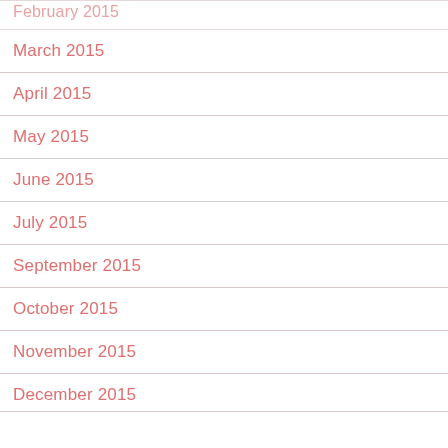February 2015
March 2015
April 2015
May 2015
June 2015
July 2015
September 2015
October 2015
November 2015
December 2015